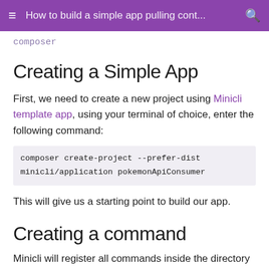How to build a simple app pulling cont...
composer
Creating a Simple App
First, we need to create a new project using Minicli template app, using your terminal of choice, enter the following command:
composer create-project --prefer-dist minicli/application pokemonApiConsumer
This will give us a starting point to build our app.
Creating a command
Minicli will register all commands inside the directory